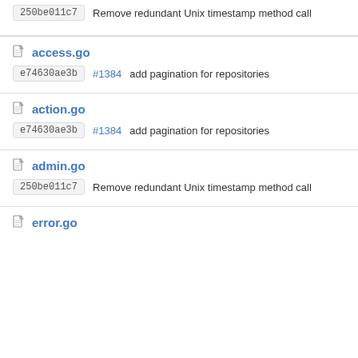250be011c7 Remove redundant Unix timestamp method call
access.go — e74630ae3b #1384 add pagination for repositories
action.go — e74630ae3b #1384 add pagination for repositories
admin.go — 250be011c7 Remove redundant Unix timestamp method call
error.go